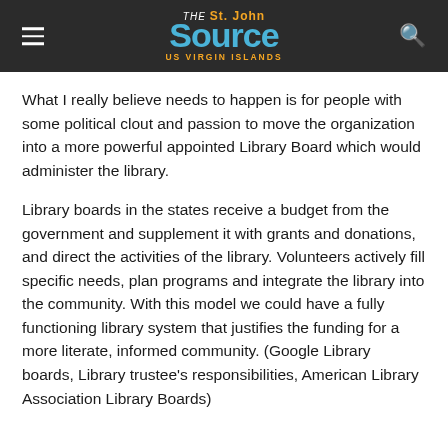THE St. John Source US VIRGIN ISLANDS
What I really believe needs to happen is for people with some political clout and passion to move the organization into a more powerful appointed Library Board which would administer the library.
Library boards in the states receive a budget from the government and supplement it with grants and donations, and direct the activities of the library. Volunteers actively fill specific needs, plan programs and integrate the library into the community. With this model we could have a fully functioning library system that justifies the funding for a more literate, informed community. (Google Library boards, Library trustee’s responsibilities, American Library Association Library Boards)